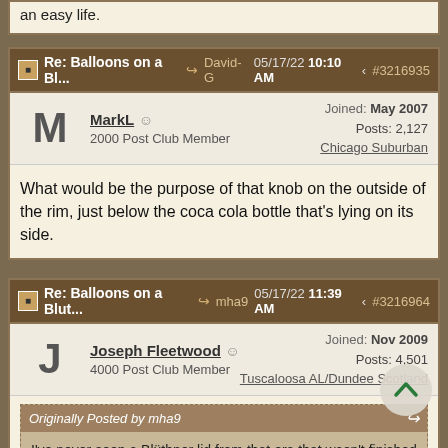an easy life.
Re: Balloons on a Bl... David-G 05/17/22 10:10 AM #3216935
MarkL  2000 Post Club Member  Joined: May 2007  Posts: 2,127  Chicago Suburban
What would be the purpose of that knob on the outside of the rim, just below the coca cola bottle that's lying on its side.
Re: Balloons on a Blut... mha9 05/17/22 11:39 AM #3216964
Joseph Fleetwood  4000 Post Club Member  Joined: Nov 2009  Posts: 4,501  Tuscaloosa AL/Dundee Scotland
Originally Posted by mha9
I've never seen a Blüthner lid from that era that wasn't finished with a raised bevel all the way around. I wonder if it's a replacement. (Or are my eyes too feeble to see it?) That's one more thing that makes me suspect that this piano has not had an easy life.